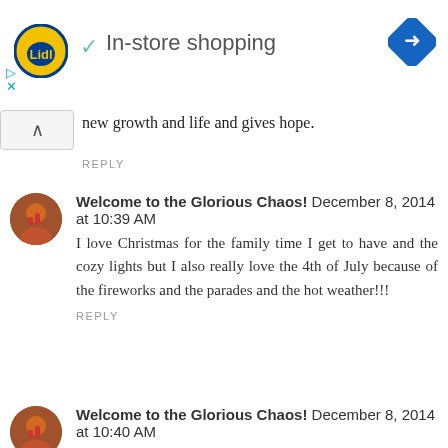[Figure (infographic): Lidl store advertisement banner showing Lidl logo, checkmark, 'In-store shopping' text, and a navigation/directions icon on the right.]
new growth and life and gives hope.
REPLY
Welcome to the Glorious Chaos!  December 8, 2014 at 10:39 AM
I love Christmas for the family time I get to have and the cozy lights but I also really love the 4th of July because of the fireworks and the parades and the hot weather!!!
REPLY
Welcome to the Glorious Chaos!  December 8, 2014 at 10:40 AM
I follow you on bloglovin'